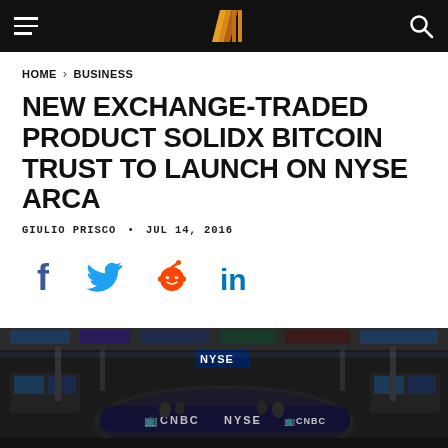Navigation bar with hamburger menu, site logo, and search icon
HOME > BUSINESS
NEW EXCHANGE-TRADED PRODUCT SOLIDX BITCOIN TRUST TO LAUNCH ON NYSE ARCA
GIULIO PRISCO • JUL 14, 2016
[Figure (infographic): Social sharing icons: Facebook, Twitter, Reddit, LinkedIn]
[Figure (photo): Aerial fisheye view of NYSE trading floor showing CNBC broadcast desk, NYSE signage, and trading stations]